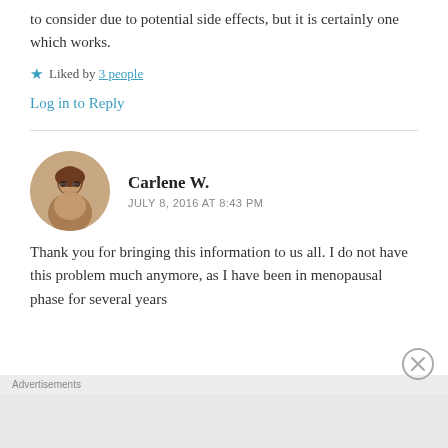to consider due to potential side effects, but it is certainly one which works.
Liked by 3 people
Log in to Reply
Carlene W.
JULY 8, 2016 AT 8:43 PM
Thank you for bringing this information to us all. I do not have this problem much anymore, as I have been in menopausal phase for several years and I remembered it so that I can now discuss it
Advertisements